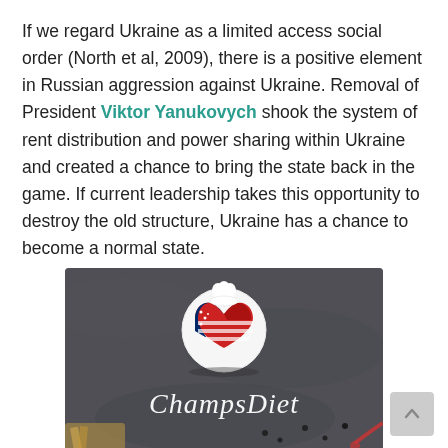If we regard Ukraine as a limited access social order (North et al, 2009), there is a positive element in Russian aggression against Ukraine. Removal of President Viktor Yanukovych shook the system of rent distribution and power sharing within Ukraine and created a chance to bring the state back in the game. If current leadership takes this opportunity to destroy the old structure, Ukraine has a chance to become a normal state.
[Figure (photo): Advertisement image for ChampsDiet showing a dark stone/slate background with food items and a circular logo featuring an American flag heart shape with a chef's hat. The word 'ChampsDiet' is written in white cursive script.]